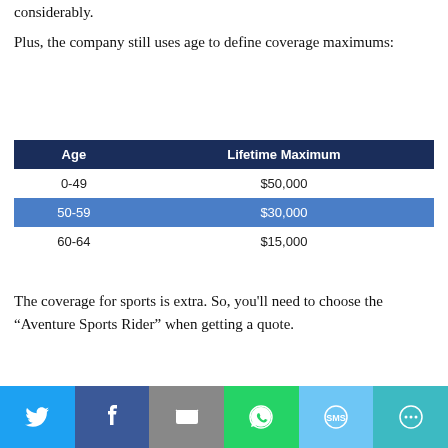considerably.
Plus, the company still uses age to define coverage maximums:
| Age | Lifetime Maximum |
| --- | --- |
| 0-49 | $50,000 |
| 50-59 | $30,000 |
| 60-64 | $15,000 |
The coverage for sports is extra. So, you'll need to choose the “Aventure Sports Rider” when getting a quote.